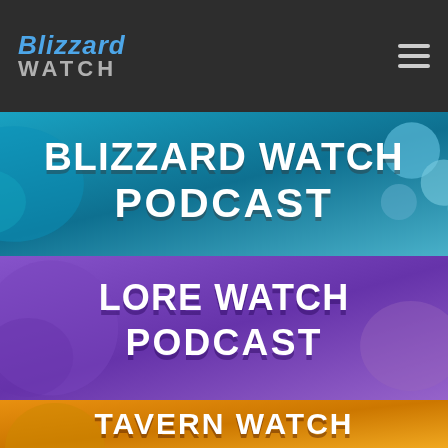Blizzard Watch
[Figure (illustration): Blizzard Watch Podcast banner with blue/teal background featuring gaming items (potions, weapons). Large white bold text reads BLIZZARD WATCH PODCAST.]
[Figure (illustration): Lore Watch Podcast banner with purple background featuring fantasy character. Large white bold text reads LORE WATCH PODCAST.]
[Figure (illustration): Tavern Watch banner with orange/gold background. Partially visible white bold text reads TAVERN WATCH.]